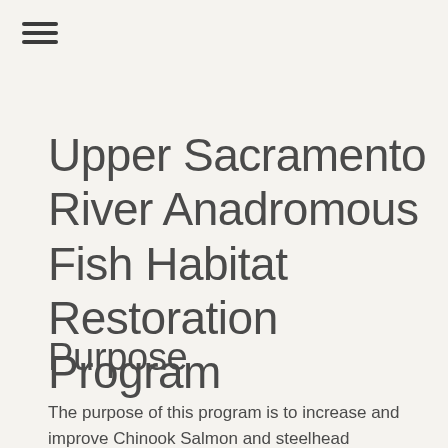[Figure (other): Hamburger menu icon with three horizontal lines]
Upper Sacramento River Anadromous Fish Habitat Restoration Program
Purpose
The purpose of this program is to increase and improve Chinook Salmon and steelhead spawning